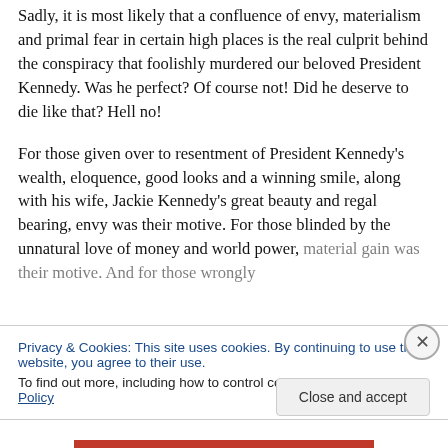Sadly, it is most likely that a confluence of envy, materialism and primal fear in certain high places is the real culprit behind the conspiracy that foolishly murdered our beloved President Kennedy.  Was he perfect? Of course not!  Did he deserve to die like that?  Hell no!
For those given over to resentment of President Kennedy's wealth, eloquence, good looks and a winning smile, along with his wife, Jackie Kennedy's great beauty and regal bearing, envy was their motive.  For those blinded by the unnatural love of money and world power, material gain was their motive.  And for those wrongly...
Privacy & Cookies: This site uses cookies. By continuing to use this website, you agree to their use.
To find out more, including how to control cookies, see here: Cookie Policy